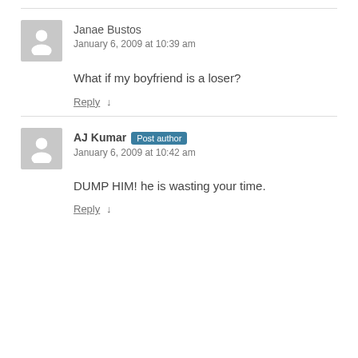Janae Bustos
January 6, 2009 at 10:39 am
What if my boyfriend is a loser?
Reply ↓
AJ Kumar Post author
January 6, 2009 at 10:42 am
DUMP HIM! he is wasting your time.
Reply ↓